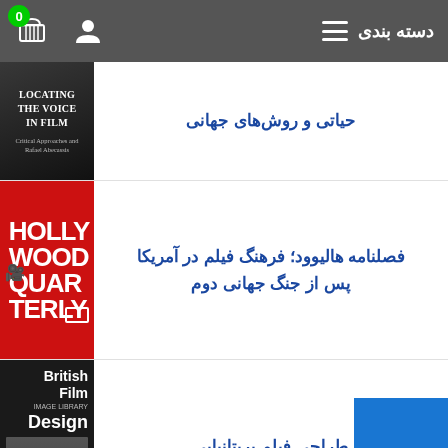دسته بندی
حیاتی و روش‌های جهانی
[Figure (photo): Book cover: Locating the Voice in Film — dark background with white text]
فصلنامه هالیوود؛ فرهنگ فیلم در آمریکا پس از جنگ جهانی دوم
[Figure (photo): Book cover: Hollywood Quarterly — red background with bold white text]
طراحی فیلم بریتانیایی
[Figure (photo): Book cover: British Film Design — dark background with large white text]
[Figure (photo): Book cover: partial blue cover at bottom]